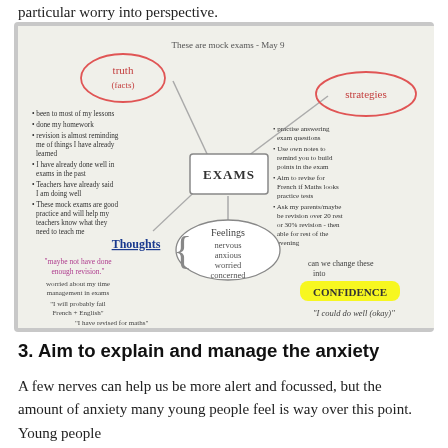particular worry into perspective.
[Figure (other): A hand-drawn mind map about EXAMS. Central box labelled 'EXAMS'. Branches to: 'truth (facts)' (circled, top-left) with bullet points about revision evidence; 'strategies' (circled, top-right) with bullet points about revision strategies; 'Feelings' (circled, bottom-centre) listing nervous, anxious, worried, concerned; 'Thoughts' (bottom-left) with negative thought quotes; 'CONFIDENCE' (highlighted yellow, bottom-right) with quote 'I could do well (okay)'. Annotation at top: 'These are mock exams - May 9'.]
3. Aim to explain and manage the anxiety
A few nerves can help us be more alert and focussed, but the amount of anxiety many young people feel is way over this point. Young people